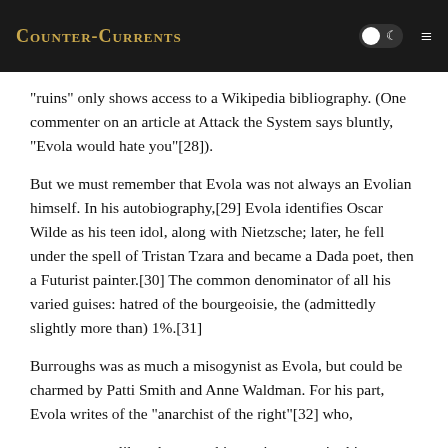Counter-Currents
“runs” only shows access to a Wikipedia bibliography. (One commenter on an article at Attack the System says bluntly, “Evola would hate you”[28]).
But we must remember that Evola was not always an Evolian himself. In his autobiography,[29] Evola identifies Oscar Wilde as his teen idol, along with Nietzsche; later, he fell under the spell of Tristan Tzara and became a Dada poet, then a Futurist painter.[30] The common denominator of all his varied guises: hatred of the bourgeoisie, the (admittedly slightly more than) 1%.[31]
Burroughs was as much a misogynist as Evola, but could be charmed by Patti Smith and Anne Waldman. For his part, Evola writes of the “anarchist of the right”[32] who,
. . . unlike other anarchists, rejects certain things not for the mere sake of rejection, but because he